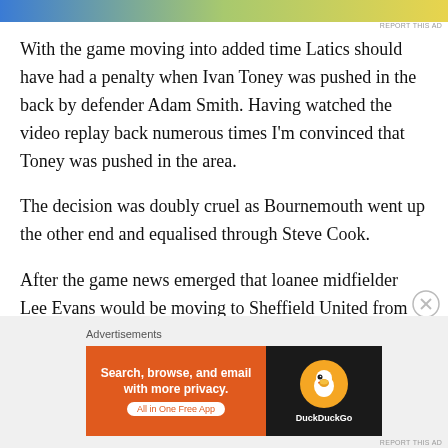[Figure (other): Top advertisement banner with blue, green, and yellow gradient]
With the game moving into added time Latics should have had a penalty when Ivan Toney was pushed in the back by defender Adam Smith. Having watched the video replay back numerous times I'm convinced that Toney was pushed in the area.
The decision was doubly cruel as Bournemouth went up the other end and equalised through Steve Cook.
After the game news emerged that loanee midfielder Lee Evans would be moving to Sheffield United from parent club Wolves for £750,000.
Advertisements
[Figure (screenshot): DuckDuckGo advertisement banner: 'Search, browse, and email with more privacy. All in One Free App' on orange background with DuckDuckGo duck logo on black background]